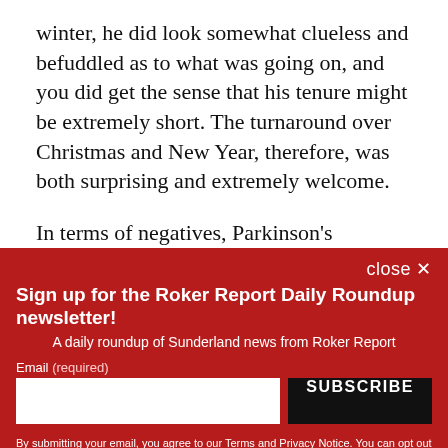winter, he did look somewhat clueless and befuddled as to what was going on, and you did get the sense that his tenure might be extremely short. The turnaround over Christmas and New Year, therefore, was both surprising and extremely welcome.
In terms of negatives, Parkinson’s stubbornness, particularly regarding Charlie Wyke, held the team
close ×
Sign up for the Roker Report Daily Roundup newsletter!
A daily roundup of Sunderland news from Roker Report
Email (required)
SUBSCRIBE
By submitting your email, you agree to our Terms and Privacy Notice. You can opt out at any time. This site is protected by reCAPTCHA and the Google Privacy Policy and Terms of Service apply.